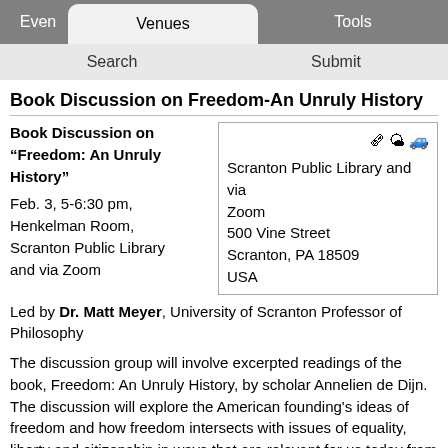Even | Venues | Tools
Search | Submit
Book Discussion on Freedom-An Unruly History
Book Discussion on "Freedom: An Unruly History"

Feb. 3, 5-6:30 pm, Henkelman Room, Scranton Public Library and via Zoom
Scranton Public Library and via Zoom
500 Vine Street
Scranton, PA 18509
USA
Led by Dr. Matt Meyer, University of Scranton Professor of Philosophy
The discussion group will involve excerpted readings of the book, Freedom: An Unruly History, by scholar Annelien de Dijn. The discussion will explore the American founding's ideas of freedom and how freedom intersects with issues of equality, liberty and citizenship in ways that are relevant for us today from matters of race relations, immigration, and women's rights to health care, Covid-19, and more.